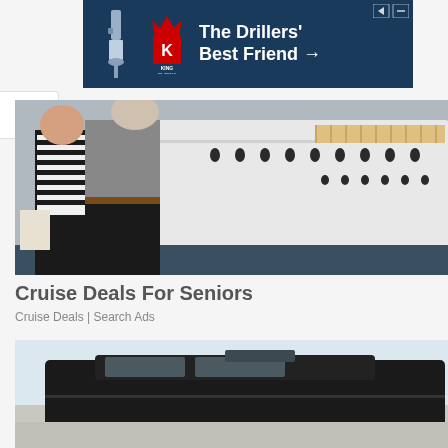[Figure (photo): King Oil Tools advertisement banner on dark blue background with drilling equipment icon and red K logo. Text reads: The Drillers' Best Friend →]
[Figure (photo): Two people (couple) standing in front of a large white cruise ship at a dock. Woman in black and white striped shirt, man in gray polo shirt.]
Cruise Deals For Seniors
Cruise Deals | Search Ads
[Figure (photo): Partial view of a dark luxury SUV/car from the rear, light gray sky background.]